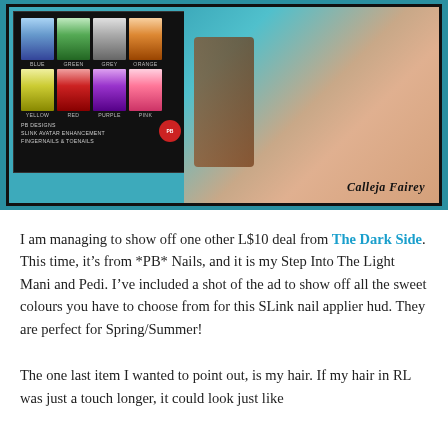[Figure (photo): Screenshot from a virtual world showing a nail colour swatch panel with Blue, Green, Grey, Orange, Yellow, Red, Purple, Pink options labelled 'PB Designs SLink Avatar Enhancement Fingernails & Toenails', alongside a rendered hand with nails and a teal background. Watermark: Calleja Fairey.]
I am managing to show off one other L$10 deal from The Dark Side. This time, it's from *PB* Nails, and it is my Step Into The Light Mani and Pedi. I've included a shot of the ad to show off all the sweet colours you have to choose from for this SLink nail applier hud. They are perfect for Spring/Summer!
The one last item I wanted to point out, is my hair. If my hair in RL was just a touch longer, it could look just like